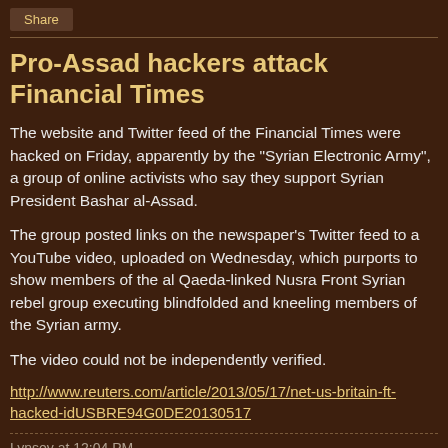Share
Pro-Assad hackers attack Financial Times
The website and Twitter feed of the Financial Times were hacked on Friday, apparently by the "Syrian Electronic Army", a group of online activists who say they support Syrian President Bashar al-Assad.
The group posted links on the newspaper's Twitter feed to a YouTube video, uploaded on Wednesday, which purports to show members of the al Qaeda-linked Nusra Front Syrian rebel group executing blindfolded and kneeling members of the Syrian army.
The video could not be independently verified.
http://www.reuters.com/article/2013/05/17/net-us-britain-ft-hacked-idUSBRE94G0DE20130517
Lynsey at 12:04 PM